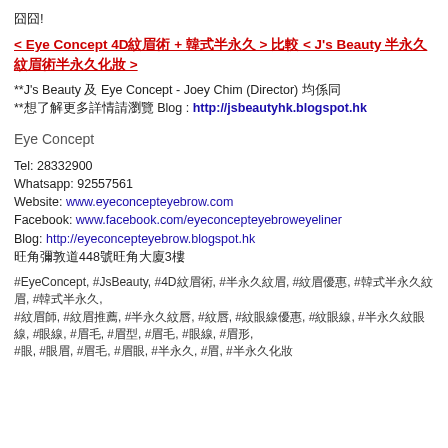囧囧!
< Eye Concept 4D紋眉術 + 韓式半永久 > 比較 < J's Beauty 半永久紋眉術半永久化妝 >
**J's Beauty 及 Eye Concept - Joey Chim (Director) 均係同
**想了解更多詳情請瀏覽 Blog : http://jsbeautyhk.blogspot.hk
Eye Concept
Tel: 28332900
Whatsapp: 92557561
Website: www.eyeconcepteyebrow.com
Facebook: www.facebook.com/eyeconcepteyebroweyeliner
Blog: http://eyeconcepteyebrow.blogspot.hk
旺角彌敦道448號旺角大廈3樓
#EyeConcept, #JsBeauty, #4D紋眉術, #半永久紋眉, #紋眉優惠, #韓式半永久紋眉, #韓式半永久, #紋眉師, #紋眉推薦, #半永久紋唇, #紋唇, #紋眼線優惠, #紋眼線, #半永久紋眼線, #眼線, #眉毛, #眉型, #眉毛, #眼線, #眉形, #眼, #眼眉, #眉毛, #眉眼, #半永久, #眉, #半永久化妝